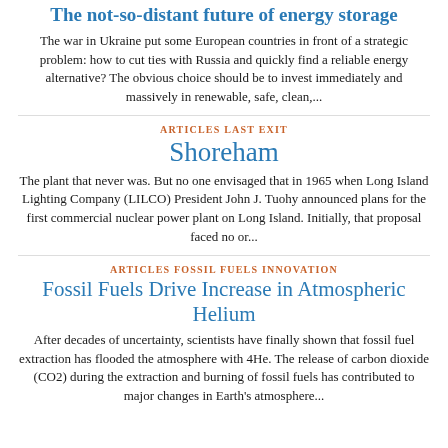The not-so-distant future of energy storage
The war in Ukraine put some European countries in front of a strategic problem: how to cut ties with Russia and quickly find a reliable energy alternative? The obvious choice should be to invest immediately and massively in renewable, safe, clean,...
ARTICLES LAST EXIT
Shoreham
The plant that never was. But no one envisaged that in 1965 when Long Island Lighting Company (LILCO) President John J. Tuohy announced plans for the first commercial nuclear power plant on Long Island. Initially, that proposal faced no or...
ARTICLES FOSSIL FUELS INNOVATION
Fossil Fuels Drive Increase in Atmospheric Helium
After decades of uncertainty, scientists have finally shown that fossil fuel extraction has flooded the atmosphere with 4He. The release of carbon dioxide (CO2) during the extraction and burning of fossil fuels has contributed to major changes in Earth's atmosphere...